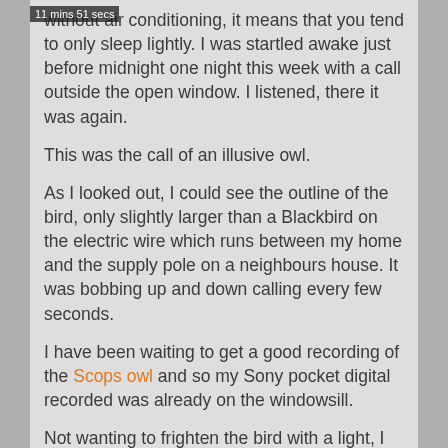11 mins 51 secs
without air conditioning, it means that you tend to only sleep lightly. I was startled awake just before midnight one night this week with a call outside the open window. I listened, there it was again.

This was the call of an illusive owl.

As I looked out, I could see the outline of the bird, only slightly larger than a Blackbird on the electric wire which runs between my home and the supply pole on a neighbours house. It was bobbing up and down calling every few seconds.

I have been waiting to get a good recording of the Scops owl and so my Sony pocket digital recorded was already on the windowsill.

Not wanting to frighten the bird with a light, I turned the recorder on in the dark and pressed record. I thought it should have "beeped" but it didn't.